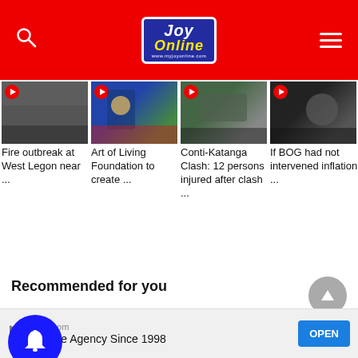[Figure (screenshot): JoyOnline website header with red background, search icon, Joy Online logo, and hamburger menu]
Fire outbreak at West Legon near ...
Art of Living Foundation to create ...
Conti-Katanga Clash: 12 persons injured after clash ...
If BOG had not intervened inflation ...
Recommended for you
recommended by
Ciniva.com
Creative Agency Since 1998
OPEN